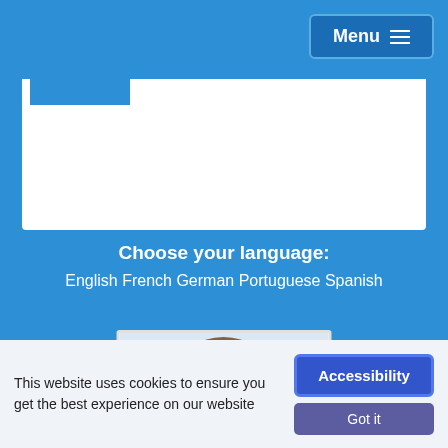Menu
Choose your language:
English French German Portuguese Spanish
[Figure (photo): Portrait photo of a woman with short brown hair, smiling, white background]
This website uses cookies to ensure you get the best experience on our website
Accessibility
Got it
Mary Lyn Pinto